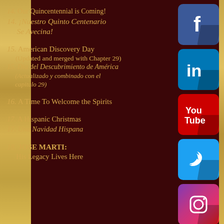14. Our Quincentennial is Coming!
14. ¡Nuestro Quinto Centenario Se Avecina!
15. American Discovery Day (Updated and merged with Chapter 29)
15. Dia del Descubrimiento de América (Actualizado y combinado con el capitulo 29)
16. A Time To Welcome the Spirits
17. A Hispanic Christmas
17. Una Navidad Hispana
18. JOSE MARTI: His Legacy Lives Here
[Figure (logo): Facebook logo icon - blue square with white 'f']
[Figure (logo): LinkedIn logo icon - blue square with white 'in']
[Figure (logo): YouTube logo icon - red square with white 'You Tube' text]
[Figure (logo): Twitter logo icon - cyan square with white bird]
[Figure (logo): Instagram logo icon - pink/purple gradient square with white camera outline]